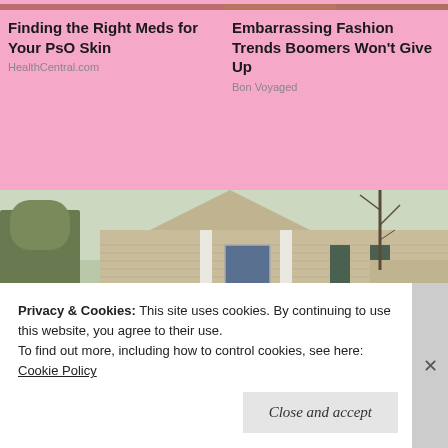[Figure (photo): Cropped top portion of a photo related to skin/medical topic (left ad)]
Finding the Right Meds for Your PsO Skin
HealthCentral.com
[Figure (photo): Cropped top portion of a photo related to fashion topic (right ad)]
Embarrassing Fashion Trends Boomers Won't Give Up
Bon Voyaged
[Figure (photo): Photo of a two-story colonial-style house with tan/beige horizontal siding, white columns, dark shutters, evergreen trees in front, bare deciduous trees visible on the left, suburban setting.]
Privacy & Cookies: This site uses cookies. By continuing to use this website, you agree to their use.
To find out more, including how to control cookies, see here: Cookie Policy
Close and accept